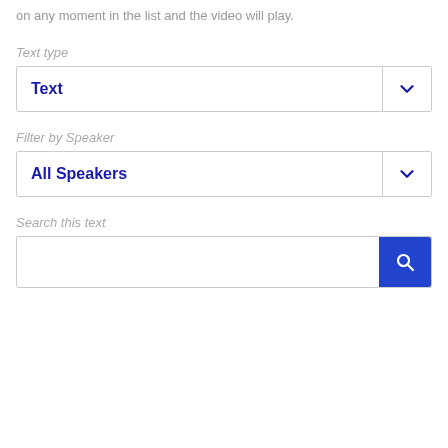on any moment in the list and the video will play.
Text type
[Figure (screenshot): Dropdown selector showing 'Text' with a blue chevron arrow on the right]
Filter by Speaker
[Figure (screenshot): Dropdown selector showing 'All Speakers' with a blue chevron arrow on the right]
Search this text
[Figure (screenshot): Search input field with a blue search button on the right containing a magnifying glass icon]